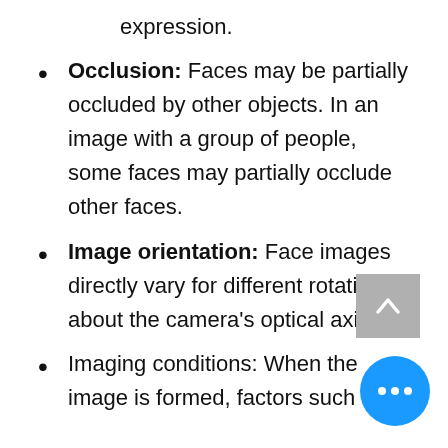expression.
Occlusion: Faces may be partially occluded by other objects. In an image with a group of people, some faces may partially occlude other faces.
Image orientation: Face images directly vary for different rotations about the camera's optical axis.
Imaging conditions: When the image is formed, factors such as